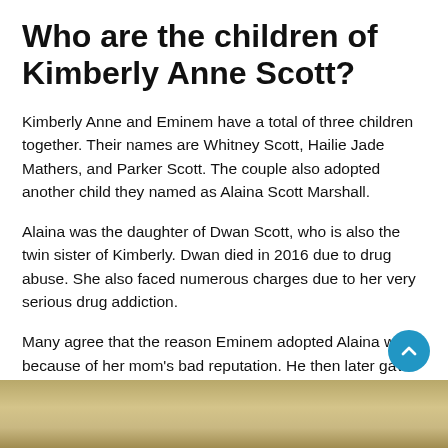Who are the children of Kimberly Anne Scott?
Kimberly Anne and Eminem have a total of three children together. Their names are Whitney Scott, Hailie Jade Mathers, and Parker Scott. The couple also adopted another child they named as Alaina Scott Marshall.
Alaina was the daughter of Dwan Scott, who is also the twin sister of Kimberly. Dwan died in 2016 due to drug abuse. She also faced numerous charges due to her very serious drug addiction.
Many agree that the reason Eminem adopted Alaina was because of her mom's bad reputation. He then later gave Alaina his last name, Mathers. Now, she is named and called as Alaina Marie Mathers.
[Figure (photo): Partial photo at bottom of page showing a golden/blonde subject, cropped]